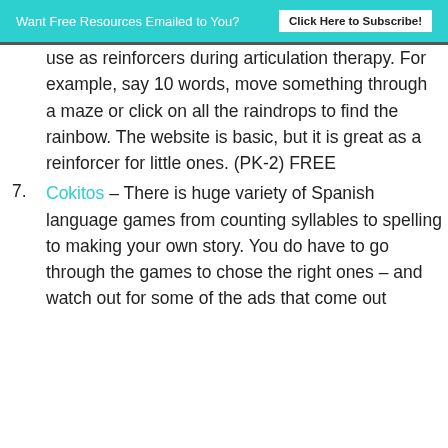Want Free Resources Emailed to You? Click Here to Subscribe!
use as reinforcers during articulation therapy. For example, say 10 words, move something through a maze or click on all the raindrops to find the rainbow. The website is basic, but it is great as a reinforcer for little ones. (PK-2) FREE
7. Cokitos – There is huge variety of Spanish language games from counting syllables to spelling to making your own story. You do have to go through the games to chose the right ones – and watch out for some of the ads that come out